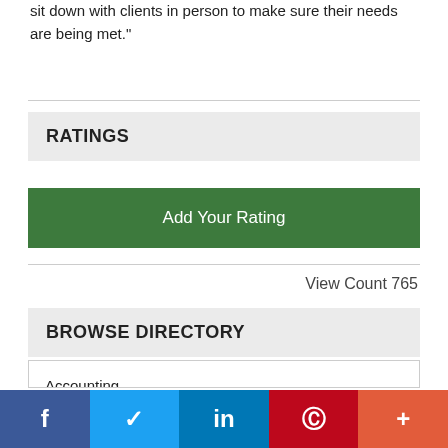sit down with clients in person to make sure their needs are being met."
RATINGS
Add Your Rating
View Count 765
BROWSE DIRECTORY
Accounting
Acti...
f  Twitter  in  Pinterest  More